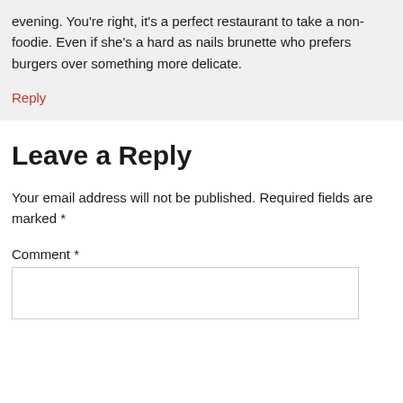evening. You're right, it's a perfect restaurant to take a non-foodie. Even if she's a hard as nails brunette who prefers burgers over something more delicate.
Reply
Leave a Reply
Your email address will not be published. Required fields are marked *
Comment *